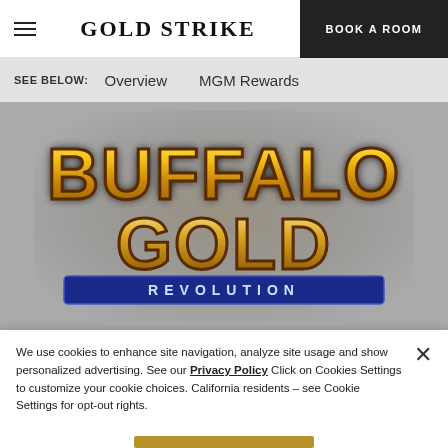GOLD STRIKE | BOOK A ROOM
SEE BELOW:   Overview   MGM Rewards
[Figure (logo): Buffalo Gold Revolution slot game logo in golden metallic letters on dark background]
We use cookies to enhance site navigation, analyze site usage and show personalized advertising. See our Privacy Policy  Click on Cookies Settings to customize your cookie choices. California residents – see Cookie Settings for opt-out rights.